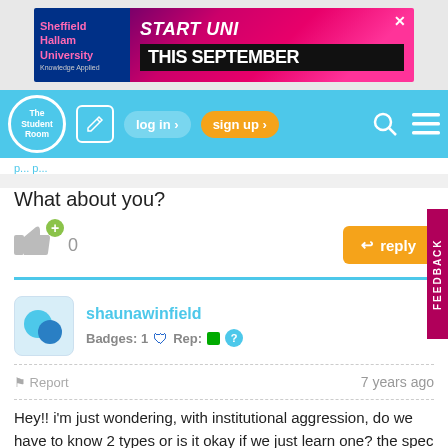[Figure (screenshot): Sheffield Hallam University advertisement banner: START UNI THIS SEPTEMBER]
[Figure (screenshot): The Student Room navigation bar with log in, sign up, search and menu buttons]
What about you?
[Figure (screenshot): Like button with count 0 and reply button]
shaunawinfield
Badges: 1 🛡 Rep:■ ?
Report   7 years ago
Hey!! i'm just wondering, with institutional aggression, do we have to know 2 types or is it okay if we just learn one? the spec doesn't specify, but our teacher gave us notes on prisons and education, in the cara flanagan its prisons and genocide, but in an ideal 24 mark